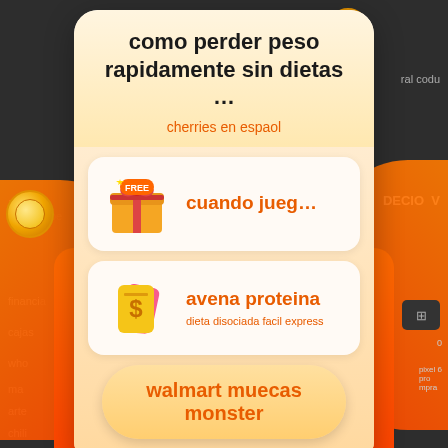[Figure (screenshot): Mobile app advertisement popup in Spanish. Shows a promotional card with title 'como perder peso rapidamente sin dietas ...' and subtitle 'cherries en espaol'. Contains two item rows: 1) A free gift box icon with text 'cuando jueg...' 2) A coupon/voucher icon with text 'avena proteina' and subtitle 'dieta disociada facil express'. Bottom button reads 'walmart muecas monster'. Orange envelope/character decorations on sides with coin graphics. Background shows partial web page text.]
como perder peso rapidamente sin dietas ...
cherries en espaol
cuando jueg...
avena proteina
dieta disociada facil express
walmart muecas monster